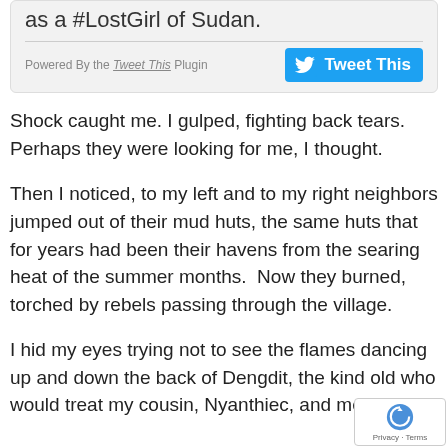as a #LostGirl of Sudan.
Powered By the Tweet This Plugin
Tweet This
Shock caught me. I gulped, fighting back tears. Perhaps they were looking for me, I thought.
Then I noticed, to my left and to my right neighbors jumped out of their mud huts, the same huts that for years had been their havens from the searing heat of the summer months.  Now they burned, torched by rebels passing through the village.
I hid my eyes trying not to see the flames dancing up and down the back of Dengdit, the kind old who would treat my cousin, Nyanthiec, and me